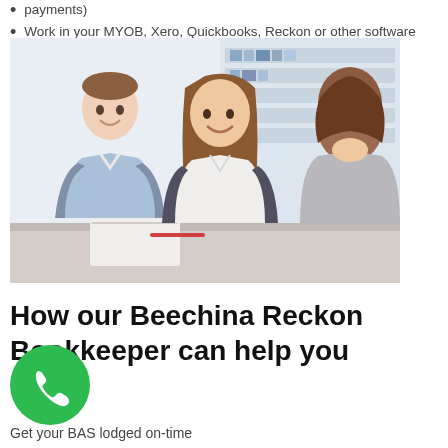payments)
Work in your MYOB, Xero, Quickbooks, Reckon or other software
[Figure (photo): Three people (two clients and an advisor) sitting at a desk reviewing documents together in an office setting with bookshelves in the background. Two people are smiling.]
How our Beechina Reckon Bookkeeper can help you
Get your BAS lodged on-time